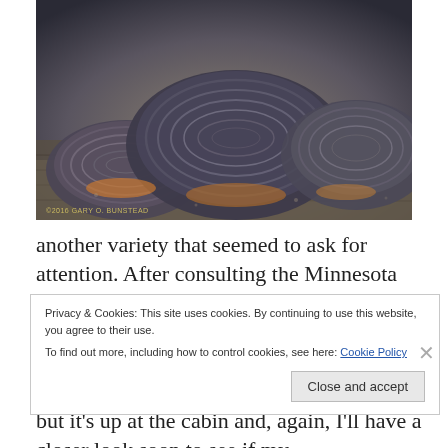[Figure (photo): Close-up photograph of turkey tail or Late Oyster Mushrooms (Panellus serotinus) growing on wood, showing layered fan-shaped brackets with concentric banding patterns in dark gray and brown tones. Copyright watermark: ©2016 GARY O. BUNSTEAD]
another variety that seemed to ask for attention. After consulting the Minnesota Seasons website, I have tentatively identified these as Late Oyster Mushrooms (Panellus serotinus), though they may be a form of turkey tail. We have a good mushroom book, but it's up at the cabin and, again, I'll have a closer look soon to see if my
Privacy & Cookies: This site uses cookies. By continuing to use this website, you agree to their use.
To find out more, including how to control cookies, see here: Cookie Policy
Close and accept